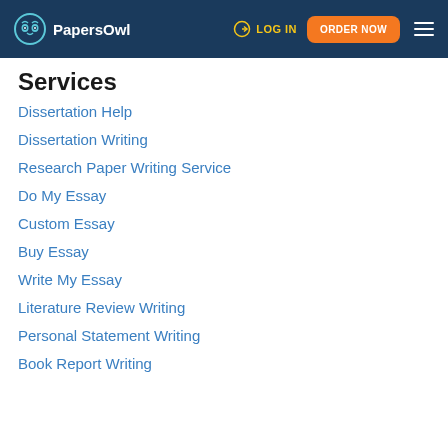PapersOwl | LOG IN | ORDER NOW
Services
Dissertation Help
Dissertation Writing
Research Paper Writing Service
Do My Essay
Custom Essay
Buy Essay
Write My Essay
Literature Review Writing
Personal Statement Writing
Book Report Writing